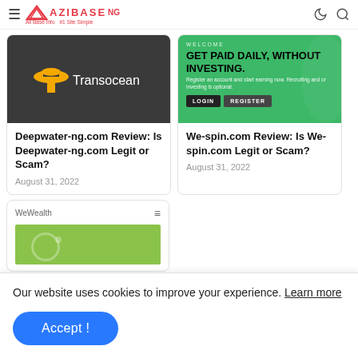≡ AZIBASE · All Base Info · #1 Site Simple
[Figure (screenshot): Transocean logo on dark grey background]
Deepwater-ng.com Review: Is Deepwater-ng.com Legit or Scam?
August 31, 2022
[Figure (screenshot): We-spin.com promotional banner: WELCOME - GET PAID DAILY, WITHOUT INVESTING. Register an account and start earning now. Recruiting and or investing is optional. LOGIN | REGISTER buttons]
We-spin.com Review: Is We-spin.com Legit or Scam?
August 31, 2022
[Figure (screenshot): WeWealth website partial screenshot with green banner]
Our website uses cookies to improve your experience. Learn more
Accept !